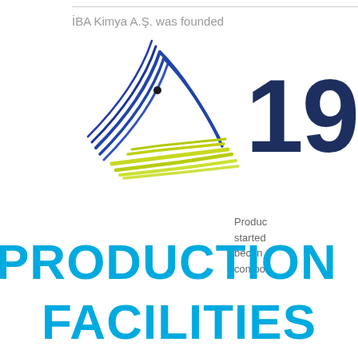İBA Kimya A.Ş. was founded
[Figure (logo): İBA Kimya A.Ş. company logo — abstract bird/wing shape in blue and yellow-green brushstrokes]
19
Production started became compo
PRODUCTION
FACILITIES